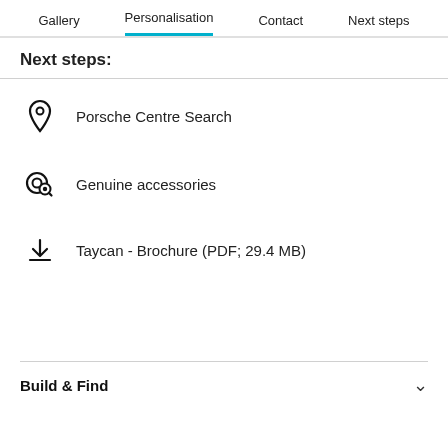Gallery | Personalisation | Contact | Next steps
Next steps:
Porsche Centre Search
Genuine accessories
Taycan - Brochure (PDF; 29.4 MB)
Build & Find